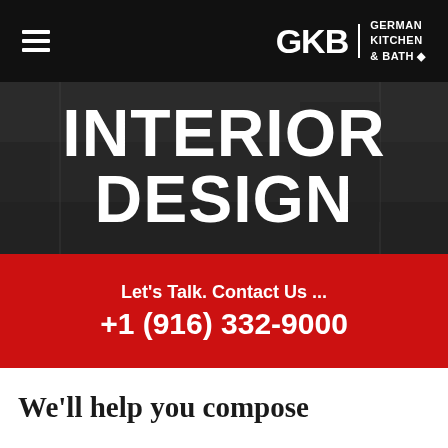GKB | GERMAN KITCHEN & BATH
INTERIOR DESIGN
Let's Talk. Contact Us ...
+1 (916) 332-9000
We'll help you compose